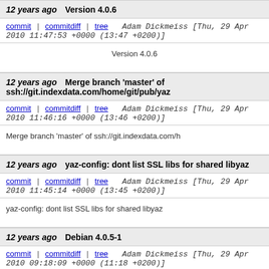12 years ago   Version 4.0.6
commit | commitdiff | tree   Adam Dickmeiss [Thu, 29 Apr 2010 11:47:53 +0000 (13:47 +0200)]
Version 4.0.6
12 years ago   Merge branch 'master' of ssh://git.indexdata.com/home/git/pub/yaz
commit | commitdiff | tree   Adam Dickmeiss [Thu, 29 Apr 2010 11:46:16 +0000 (13:46 +0200)]
Merge branch 'master' of ssh://git.indexdata.com/h
12 years ago   yaz-config: dont list SSL libs for shared libyaz
commit | commitdiff | tree   Adam Dickmeiss [Thu, 29 Apr 2010 11:45:14 +0000 (13:45 +0200)]
yaz-config: dont list SSL libs for shared libyaz
12 years ago   Debian 4.0.5-1
commit | commitdiff | tree   Adam Dickmeiss [Thu, 29 Apr 2010 09:18:09 +0000 (11:18 +0200)]